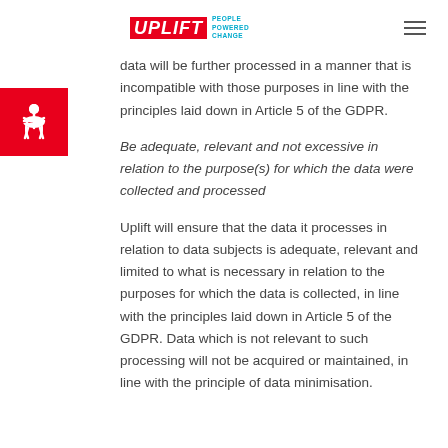UPLIFT PEOPLE POWERED CHANGE
data will be further processed in a manner that is incompatible with those purposes in line with the principles laid down in Article 5 of the GDPR.
Be adequate, relevant and not excessive in relation to the purpose(s) for which the data were collected and processed
Uplift will ensure that the data it processes in relation to data subjects is adequate, relevant and limited to what is necessary in relation to the purposes for which the data is collected, in line with the principles laid down in Article 5 of the GDPR. Data which is not relevant to such processing will not be acquired or maintained, in line with the principle of data minimisation.